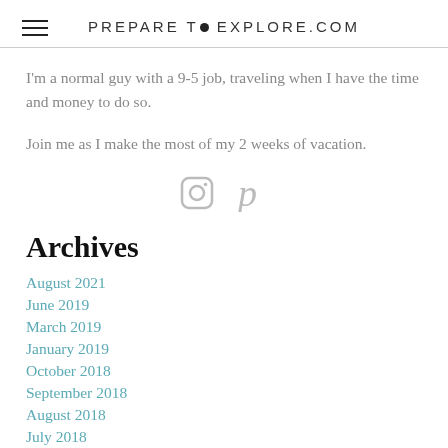PREPARE TO EXPLORE.com
I'm a normal guy with a 9-5 job, traveling when I have the time and money to do so.
Join me as I make the most of my 2 weeks of vacation.
[Figure (other): Social media icons: Instagram camera icon and Pinterest P icon in light gray]
Archives
August 2021
June 2019
March 2019
January 2019
October 2018
September 2018
August 2018
July 2018